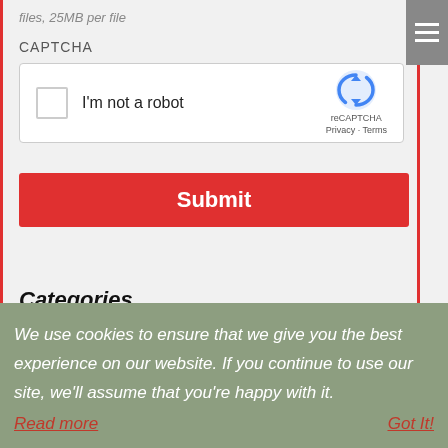files, 25MB per file
CAPTCHA
[Figure (screenshot): reCAPTCHA widget with checkbox labeled 'I'm not a robot', reCAPTCHA logo and branding with 'Privacy - Terms' links]
Submit
Categories
We use cookies to ensure that we give you the best experience on our website. If you continue to use our site, we'll assume that you're happy with it. Read more   Got It!